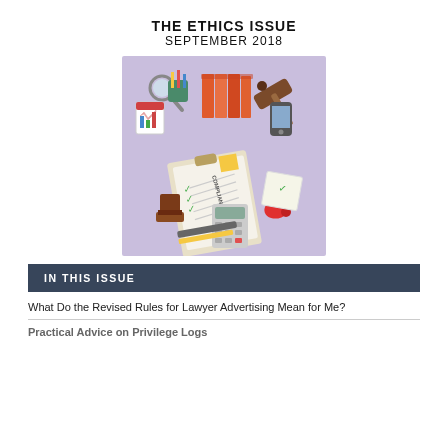THE ETHICS ISSUE
SEPTEMBER 2018
[Figure (illustration): Isometric illustration on a lavender/purple background showing various legal and compliance items: a compliance checklist on a clipboard with green checkmarks, books, a magnifying glass, a gavel, a calculator, a stamp, a calendar, pencils in a cup, a phone, sticky notes, and a red telephone.]
IN THIS ISSUE
What Do the Revised Rules for Lawyer Advertising Mean for Me?
Practical Advice on Privilege Logs